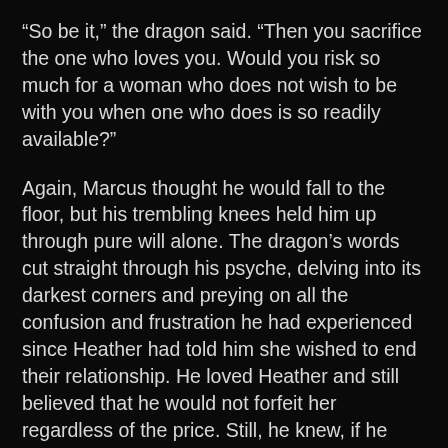“So be it,” the dragon said. “Then you sacrifice the one who loves you. Would you risk so much for a woman who does not wish to be with you when one who does is so readily available?”
Again, Marcus thought he would fall to the floor, but his trembling knees held him up through pure will alone. The dragon’s words cut straight through his psyche, delving into its darkest corners and preying on all the confusion and frustration he had experienced since Heather had told him she wished to end their relationship. He loved Heather and still believed that he would not forfeit her regardless of the price. Still, he knew, if he died trying to defend her then she would die soon after. That would surely happen if he could not use his powers to counter those of the Necromancer. Worse yet, the image of